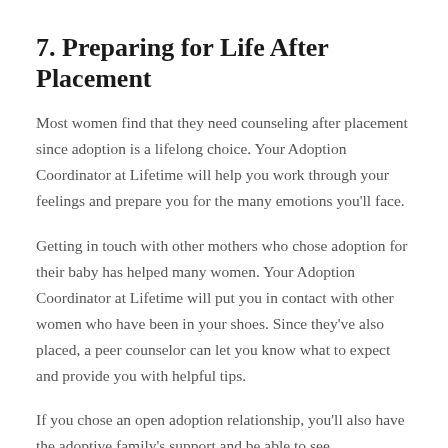7. Preparing for Life After Placement
Most women find that they need counseling after placement since adoption is a lifelong choice. Your Adoption Coordinator at Lifetime will help you work through your feelings and prepare you for the many emotions you'll face.
Getting in touch with other mothers who chose adoption for their baby has helped many women. Your Adoption Coordinator at Lifetime will put you in contact with other women who have been in your shoes. Since they've also placed, a peer counselor can let you know what to expect and provide you with helpful tips.
If you chose an open adoption relationship, you'll also have the adoptive family's support and be able to see your child grow up. With an open adoption, you can...